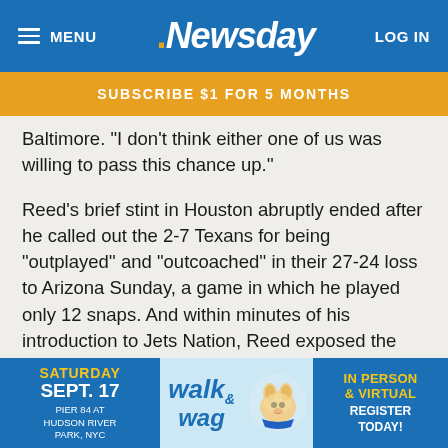MENU | Newsday | LOG IN
SUBSCRIBE $1 FOR 5 MONTHS
Baltimore. "I don't think either one of us was willing to pass this chance up.''
Reed's brief stint in Houston abruptly ended after he called out the 2-7 Texans for being "outplayed'' and "outcoached'' in their 27-24 loss to Arizona Sunday, a game in which he played only 12 snaps. And within minutes of his introduction to Jets Nation, Reed exposed the chip on his shoulder, created by recent criticism that his play has slipped.
"My goal is to come here and give all I have,'' he said. " . . . It seems ted that m r.''
[Figure (infographic): Ad banner: Walk & Wag event, Saturday Sept. 17, Pier 84 at Hudson River Park NYC, with dog photo, In Person & Virtual Register Today]